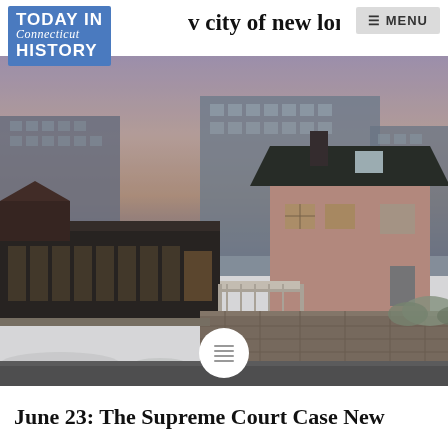TODAY IN Connecticut HISTORY
kelo v city of new london
≡ MENU
[Figure (photo): Street-level photograph of a pink clapboard house with a white deck/ramp, surrounded by stone walls and bare shrubs, with large commercial/institutional buildings in the background and a dusky sky. Snow is visible on the ground. New London, Connecticut waterfront neighborhood.]
June 23: The Supreme Court Case New